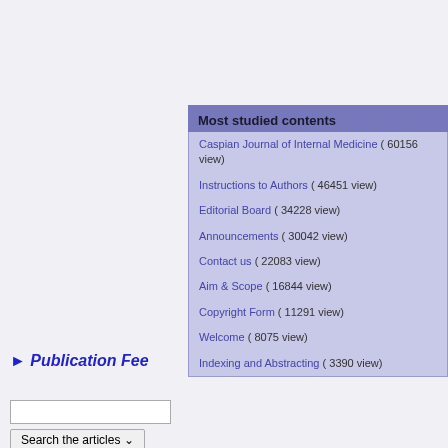Most studied contents
Caspian Journal of Internal Medicine ( 60156 view)
Instructions to Authors ( 46451 view)
Editorial Board ( 34228 view)
Announcements ( 30042 view)
Contact us ( 22083 view)
Aim & Scope ( 16844 view)
Copyright Form ( 11291 view)
Welcome ( 8075 view)
Indexing and Abstracting ( 3390 view)
► Publication Fee
Search the articles